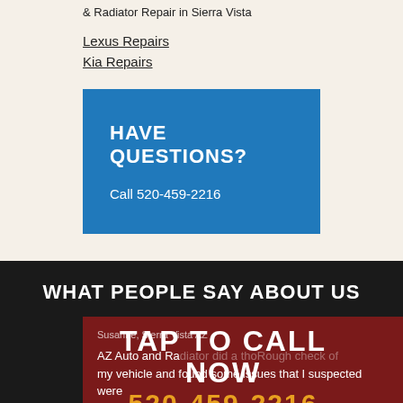& Radiator Repair in Sierra Vista
Lexus Repairs
Kia Repairs
HAVE QUESTIONS?
Call 520-459-2216
WHAT PEOPLE SAY ABOUT US
Susanne, Sierra Vista AZ
TAP TO CALL NOW
520-459-2216
AZ Auto and Radiator did a thorough check of my vehicle and found some issues that I suspected were present, but were never diagnosed by another local